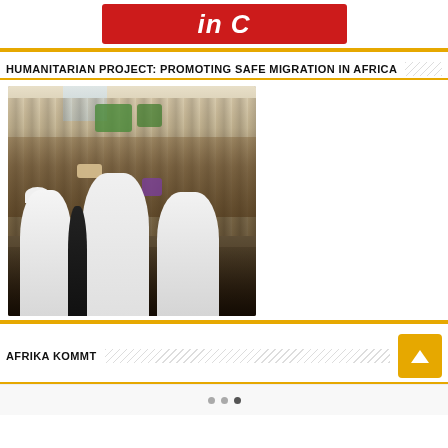[Figure (illustration): Red banner/logo with white italic text reading 'in C' (partially visible), cropped at top of page]
HUMANITARIAN PROJECT: PROMOTING SAFE MIGRATION IN AFRICA
[Figure (photo): Crowd of people seated in a room, many wearing white clothing. Some in green shirts visible in background. Front row shows men in white traditional attire seated in chairs.]
AFRIKA KOMMT